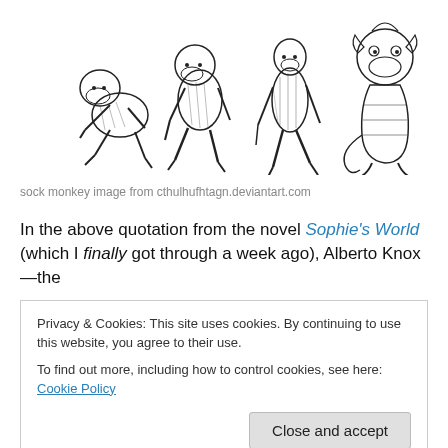[Figure (illustration): Evolution of man illustration showing progression from ape to upright human to cartoon sock monkey character, drawn in black and white sketch style.]
sock monkey image from cthulhufhtagn.deviantart.com
In the above quotation from the novel Sophie's World (which I finally got through a week ago), Alberto Knox—the
Privacy & Cookies: This site uses cookies. By continuing to use this website, you agree to their use.
To find out more, including how to control cookies, see here: Cookie Policy
Close and accept
the other, at least if we refrain from censoring ourselves